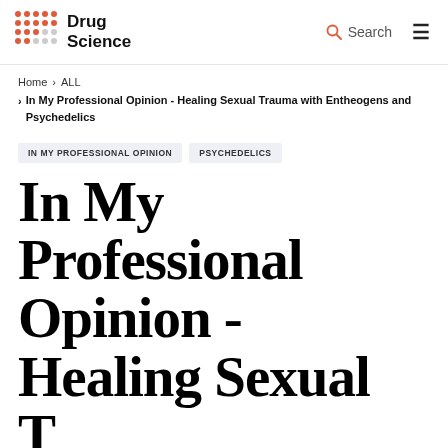Drug Science | Search | Menu
Home > ALL > In My Professional Opinion - Healing Sexual Trauma with Entheogens and Psychedelics
IN MY PROFESSIONAL OPINION   PSYCHEDELICS
In My Professional Opinion - Healing Sexual T...